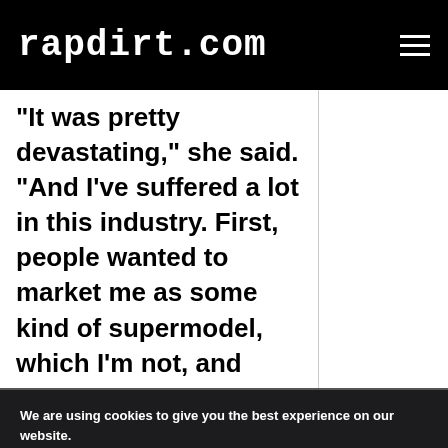rapdirt.com
“It was pretty devastating,” she said. “And I’ve suffered a lot in this industry. First, people wanted to market me as some kind of supermodel, which I’m not, and they wanted to link my artistry with Biggie’s shadow, which
We are using cookies to give you the best experience on our website.
You can find out more about which cookies we are using or switch them off in settings.
Accept